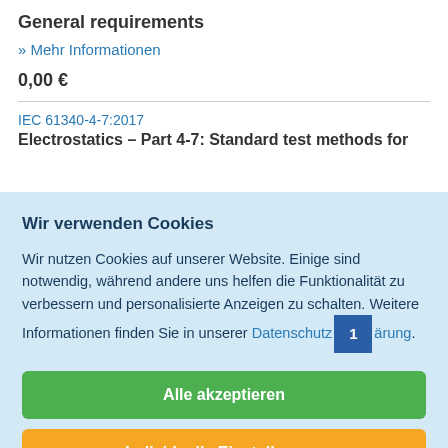General requirements
» Mehr Informationen
0,00 €
IEC 61340-4-7:2017
Electrostatics – Part 4-7: Standard test methods for
Wir verwenden Cookies
Wir nutzen Cookies auf unserer Website. Einige sind notwendig, während andere uns helfen die Funktionalität zu verbessern und personalisierte Anzeigen zu schalten. Weitere Informationen finden Sie in unserer Datenschutzerklärung.
Alle akzeptieren
Individuelle Einstellungen